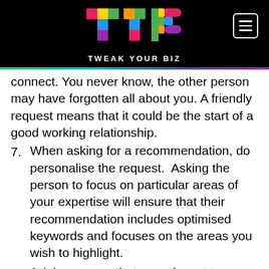[Figure (logo): Tweak Your Biz (TYB) logo with colorful block letters on black background, with hamburger menu icon top right]
connect. You never know, the other person may have forgotten all about you. A friendly request means that it could be the start of a good working relationship.
7. When asking for a recommendation, do personalise the request. Asking the person to focus on particular areas of your expertise will ensure that their recommendation includes optimised keywords and focuses on the areas you wish to highlight.
8. Joining groups that are relevant to your industry and taking part in discussion should get you noticed for all the right